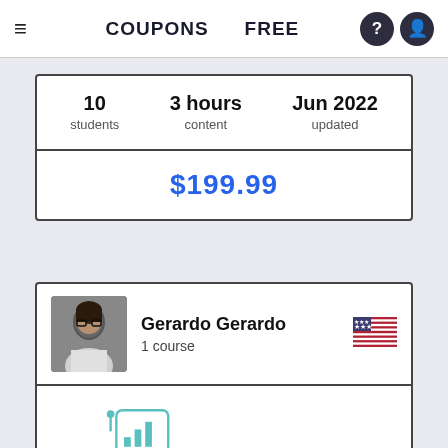≡  COUPONS  FREE
| 10 students | 3 hours content | Jun 2022 updated |
| $199.99 |
[Figure (photo): Instructor profile photo of Gerardo Gerardo]
Gerardo Gerardo
1 course
[Figure (logo): CampaignManager robot logo with teal robot icon holding chart speech bubble, and CampaignManager text in teal]